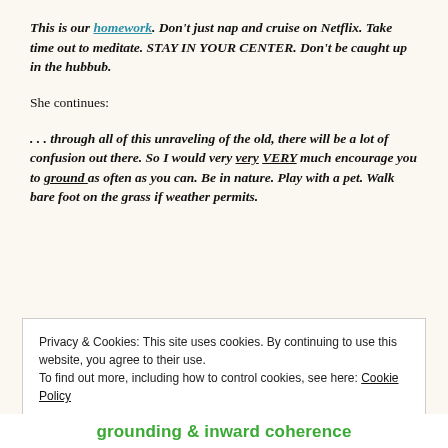This is our homework. Don't just nap and cruise on Netflix. Take time out to meditate. STAY IN YOUR CENTER. Don't be caught up in the hubbub.
She continues:
. . . through all of this unraveling of the old, there will be a lot of confusion out there. So I would very very VERY much encourage you to ground as often as you can. Be in nature. Play with a pet. Walk bare foot on the grass if weather permits.
Privacy & Cookies: This site uses cookies. By continuing to use this website, you agree to their use.
To find out more, including how to control cookies, see here: Cookie Policy
Close and accept
grounding & inward coherence